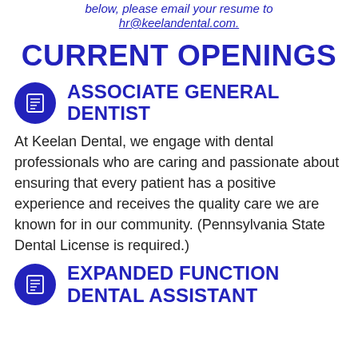below, please email your resume to hr@keelandental.com.
CURRENT OPENINGS
ASSOCIATE GENERAL DENTIST
At Keelan Dental, we engage with dental professionals who are caring and passionate about ensuring that every patient has a positive experience and receives the quality care we are known for in our community. (Pennsylvania State Dental License is required.)
EXPANDED FUNCTION DENTAL ASSISTANT